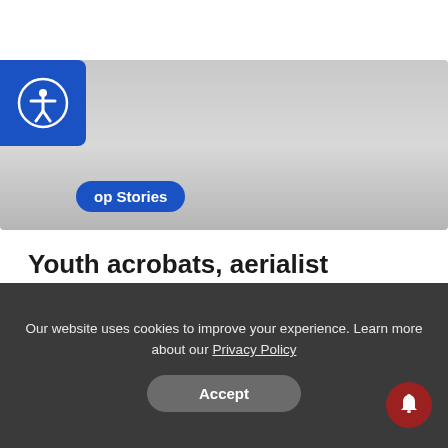[Figure (screenshot): Accessibility icon button (person in circle) on blue background, top left corner]
Top Stories
Youth acrobats, aerialist prepare for “The Greatest Show on Earth”
Newsroom Staff | January 13, 2019
Our website uses cookies to improve your experience. Learn more about our Privacy Policy
Accept